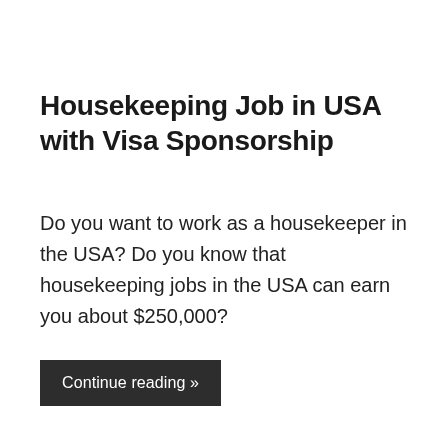Housekeeping Job in USA with Visa Sponsorship
Do you want to work as a housekeeper in the USA? Do you know that housekeeping jobs in the USA can earn you about $250,000?
Continue reading »